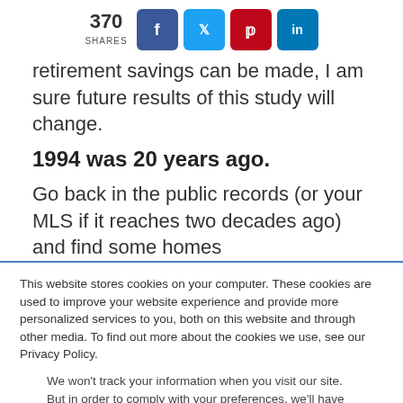[Figure (infographic): Social share bar showing 370 shares with Facebook, Twitter, Pinterest, and LinkedIn buttons]
retirement savings can be made, I am sure future results of this study will change.
1994 was 20 years ago.
Go back in the public records (or your MLS if it reaches two decades ago) and find some homes
This website stores cookies on your computer. These cookies are used to improve your website experience and provide more personalized services to you, both on this website and through other media. To find out more about the cookies we use, see our Privacy Policy.
We won't track your information when you visit our site. But in order to comply with your preferences, we'll have to use just one tiny cookie so that you're not asked to make this choice again.